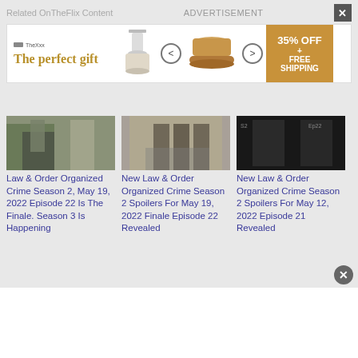Related OnTheFlix Content
ADVERTISEMENT
[Figure (screenshot): Advertisement banner for gift shop: 'The perfect gift' with product images and '35% OFF + FREE SHIPPING' offer]
[Figure (photo): Law & Order Organized Crime scene, two figures near door]
Law & Order Organized Crime Season 2, May 19, 2022 Episode 22 Is The Finale. Season 3 Is Happening
[Figure (photo): New Law & Order Organized Crime Season 2 scene, group of people standing]
New Law & Order Organized Crime Season 2 Spoilers For May 19, 2022 Finale Episode 22 Revealed
[Figure (photo): New Law & Order Organized Crime Season 2 dark scene]
New Law & Order Organized Crime Season 2 Spoilers For May 12, 2022 Episode 21 Revealed
[Figure (photo): Outdoor scene with two people]
[Figure (photo): Indoor elevator scene with two people]